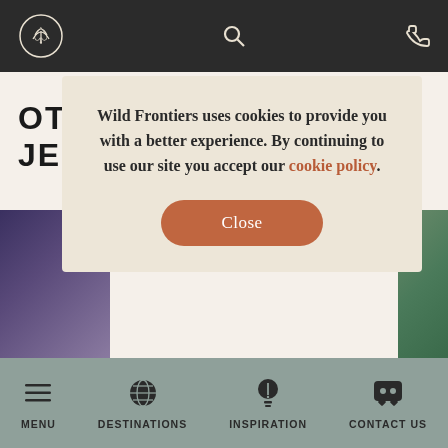[Figure (logo): Wild Frontiers circular logo with stylized tree/person icon in white on dark background, header bar with search and phone icons]
OTHER PROPERTIES IN JERUSALEM
[Figure (photo): Two partial property photos visible - left showing a figure in dark/purple tones, right showing green landscape]
Wild Frontiers uses cookies to provide you with a better experience. By continuing to use our site you accept our cookie policy.
Close
MENU | DESTINATIONS | INSPIRATION | CONTACT US